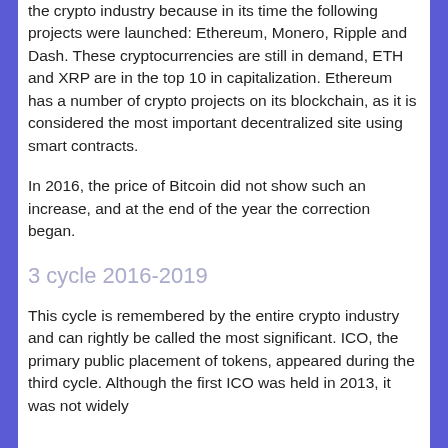the crypto industry because in its time the following projects were launched: Ethereum, Monero, Ripple and Dash. These cryptocurrencies are still in demand, ETH and XRP are in the top 10 in capitalization. Ethereum has a number of crypto projects on its blockchain, as it is considered the most important decentralized site using smart contracts.
In 2016, the price of Bitcoin did not show such an increase, and at the end of the year the correction began.
3 cycle 2016-2019
This cycle is remembered by the entire crypto industry and can rightly be called the most significant. ICO, the primary public placement of tokens, appeared during the third cycle. Although the first ICO was held in 2013, it was not widely